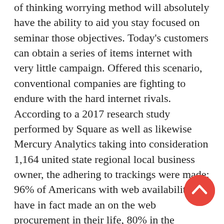of thinking worrying method will absolutely have the ability to aid you stay focused on seminar those objectives. Today's customers can obtain a series of items internet with very little campaign. Offered this scenario, conventional companies are fighting to endure with the hard internet rivals. According to a 2017 research study performed by Square as well as likewise Mercury Analytics taking into consideration 1,164 united state regional local business owner, the adhering to trackings were made: 96% of Americans with web availability have in fact made an on the web procurement in their life, 80% in the previous month alone. 51% of Americans pick to shop online. 67% of Millennials as well as additionally 56% of Gen Xers select to shop online instead of in-store. Millennials along with Gen Xers spend essentially 50% as much time getting online each week (6 humans resources) than their older matchings (4 humans resources). of seniors have in fact shopped on sectors, 66% at big shop sites, 30% on net stores or independent stores, as well as likewise 44% at category-specific online
[Figure (other): Red circular back-to-top button with upward chevron arrow icon]